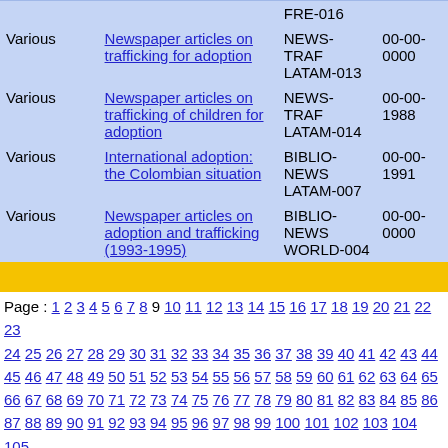| Author | Title | ID | Date |
| --- | --- | --- | --- |
|  |  | FRE-016 |  |
| Various | Newspaper articles on trafficking for adoption | NEWS-TRAF LATAM-013 | 00-00-0000 |
| Various | Newspaper articles on trafficking of children for adoption | NEWS-TRAF LATAM-014 | 00-00-1988 |
| Various | International adoption: the Colombian situation | BIBLIO-NEWS LATAM-007 | 00-00-1991 |
| Various | Newspaper articles on adoption and trafficking (1993-1995) | BIBLIO-NEWS WORLD-004 | 00-00-0000 |
Page : 1 2 3 4 5 6 7 8 9 10 11 12 13 14 15 16 17 18 19 20 21 22 23 24 25 26 27 28 29 30 31 32 33 34 35 36 37 38 39 40 41 42 43 44 45 46 47 48 49 50 51 52 53 54 55 56 57 58 59 60 61 62 63 64 65 66 67 68 69 70 71 72 73 74 75 76 77 78 79 80 81 82 83 84 85 86 87 88 89 90 91 92 93 94 95 96 97 98 99 100 101 102 103 104 105 106 107 108 109 110 111 112